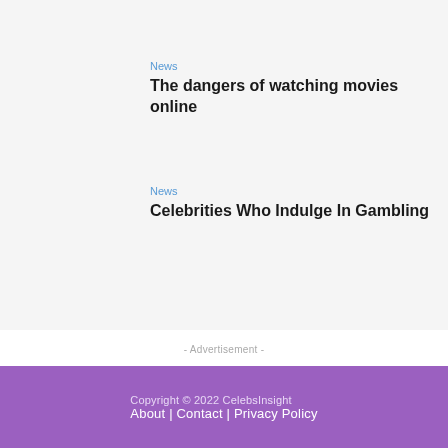News
The dangers of watching movies online
News
Celebrities Who Indulge In Gambling
- Advertisement -
Copyright © 2022 CelebsInsight
About | Contact | Privacy Policy